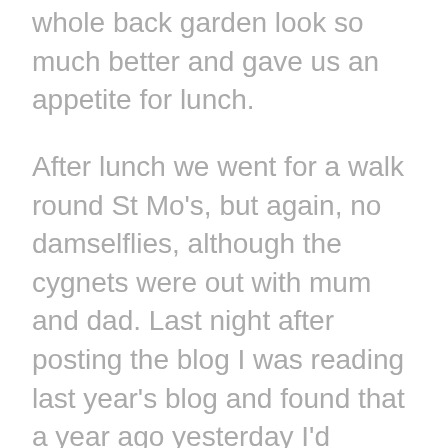All in all an hour and a bit's work made the whole back garden look so much better and gave us an appetite for lunch.
After lunch we went for a walk round St Mo's, but again, no damselflies, although the cygnets were out with mum and dad. Last night after posting the blog I was reading last year's blog and found that a year ago yesterday I'd photographed the first damselfly of the year. So, rather than being a bit behind this year, we are actually ahead of last year's hatch. The walk brought today's PoD which is a snail sheltering under a leaf. I wondered, as I was taking the shot, if that snail knew more than me and perhaps rain was on the way.